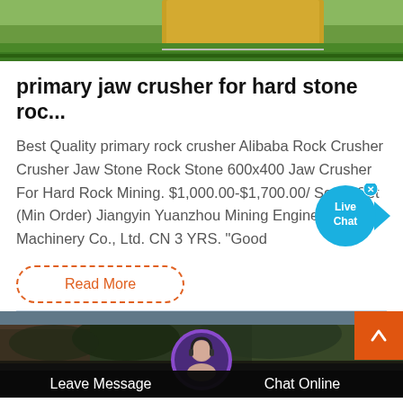[Figure (photo): Top portion of a product image showing machinery equipment on a green and yellow surface, partially cropped]
primary jaw crusher for hard stone roc...
Best Quality primary rock crusher Alibaba Rock Crusher Crusher Jaw Stone Rock Stone 600x400 Jaw Crusher For Hard Rock Mining. $1,000.00-$1,700.00/ Set. 1 Set (Min Order) Jiangyin Yuanzhou Mining Engineering Machinery Co., Ltd. CN 3 YRS. "Good
[Figure (other): Live Chat badge - blue circular badge with 'Live Chat' text and a tail pointing right, with an X close button]
Read More
[Figure (photo): Bottom section showing a partially visible landscape/outdoor scene and a chat assistant interface with avatar, Leave Message and Chat Online buttons, and a scroll-to-top orange button]